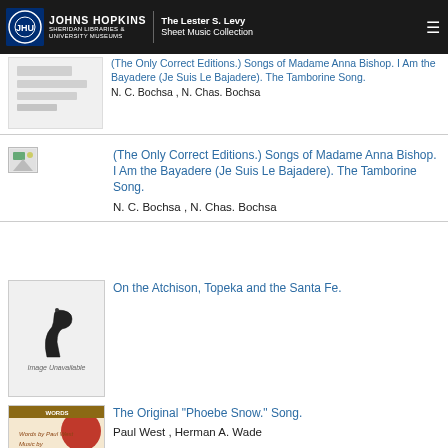Johns Hopkins Sheridan Libraries & University Museums | The Lester S. Levy Sheet Music Collection
(The Only Correct Editions.) Songs of Madame Anna Bishop. I Am the Bayadere (Je Suis Le Bajadere). The Tamborine Song.
N. C. Bochsa , N. Chas. Bochsa
(The Only Correct Editions.) Songs of Madame Anna Bishop. I Am the Bayadere (Je Suis Le Bajadere). The Tamborine Song.
N. C. Bochsa , N. Chas. Bochsa
On the Atchison, Topeka and the Santa Fe.
The Original "Phoebe Snow." Song.
Paul West , Herman A. Wade
Vocal Selections From The Singing Girl. A Comic Opera in 3 Acts. The Siren of the Ballet.
Victor Herbert , Stanislaus Stange , Harry B. Smith